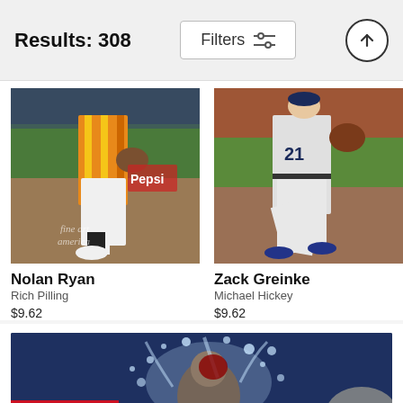Results: 308
Filters
[Figure (photo): Baseball player in orange/yellow striped Houston Astros uniform pitching, Nolan Ryan]
Nolan Ryan
Rich Pilling
$9.62
[Figure (photo): Baseball player #21 in gray uniform pitching, Zack Greinke]
Zack Greinke
Michael Hickey
$9.62
[Figure (photo): Baseball player being doused with water/ice celebration, Nationals park visible in background]